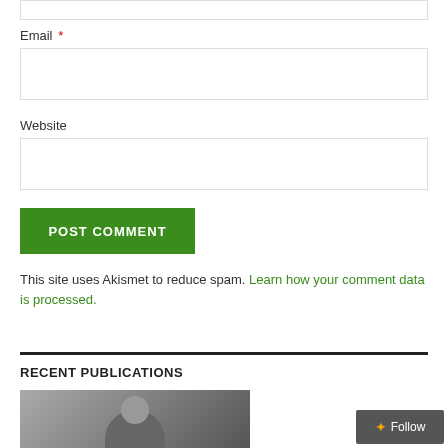Email *
Website
POST COMMENT
This site uses Akismet to reduce spam. Learn how your comment data is processed.
RECENT PUBLICATIONS
[Figure (photo): Black and white photo of a person wearing a hard hat]